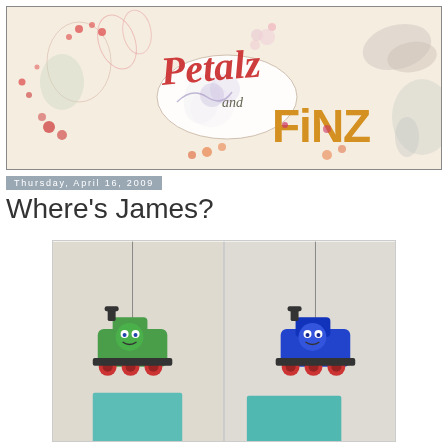[Figure (illustration): Petalz and Finz blog header banner with decorative floral and animal illustrations, featuring the text 'Petalz and FINZ' in stylized lettering]
Thursday, April 16, 2009
Where's James?
[Figure (photo): Two photos side by side: left shows Percy (green Thomas & Friends train) hanging from a string above a teal cloth, right shows Thomas (blue train) hanging from a string above a teal cloth]